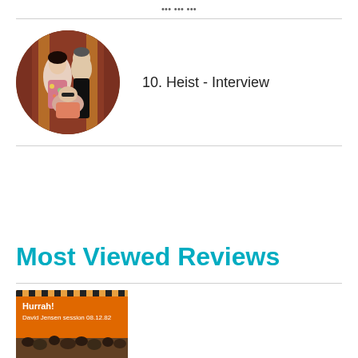10. Heist - Interview
10. Heist - Interview
Most Viewed Reviews
[Figure (illustration): Orange album/EP cover thumbnail for Hurrah! David Jensen session 08.12.82 with checkered top border and crowd image at bottom]